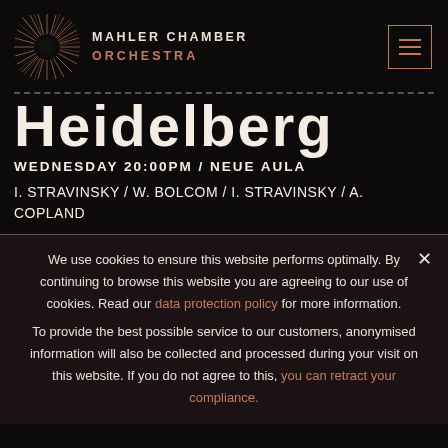MAHLER CHAMBER ORCHESTRA
Heidelberg
WEDNESDAY 20:00PM / NEUE AULA
I. STRAVINSKY / W. BOLCOM / I. STRAVINSKY / A. COPLAND
We use cookies to ensure this website performs optimally. By continuing to browse this website you are agreeing to our use of cookies. Read our data protection policy for more information.
To provide the best possible service to our customers, anonymised information will also be collected and processed during your visit on this website. If you do not agree to this, you can retract your compliance.